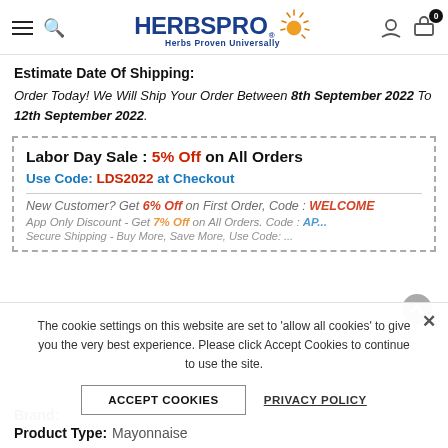HerbsPro — Herbs Proven Universally
Estimate Date Of Shipping:
Order Today! We Will Ship Your Order Between 8th September 2022 To 12th September 2022.
Labor Day Sale : 5% Off on All Orders
Use Code: LDS2022 at Checkout
New Customer? Get 6% Off on First Order, Code : WELCOME
App Only Discount - Get 7% Off on All Orders. Code : APP...
Secure Shipping - Buy More, Save More, Use Code: ...
The cookie settings on this website are set to 'allow all cookies' to give you the very best experience. Please click Accept Cookies to continue to use the site.
Brand:
Product Type: Mayonnaise